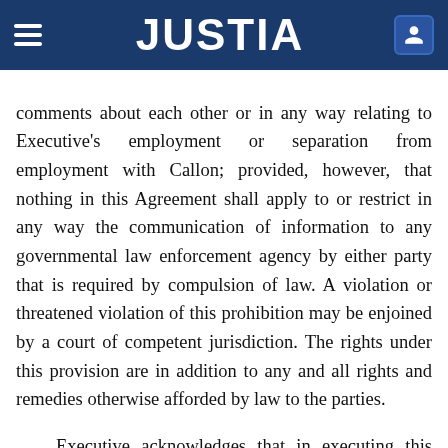JUSTIA
comments about each other or in any way relating to Executive's employment or separation from employment with Callon; provided, however, that nothing in this Agreement shall apply to or restrict in any way the communication of information to any governmental law enforcement agency by either party that is required by compulsion of law. A violation or threatened violation of this prohibition may be enjoined by a court of competent jurisdiction. The rights under this provision are in addition to any and all rights and remedies otherwise afforded by law to the parties.
Executive acknowledges that in executing this Agreement, he has knowingly, voluntarily, and intelligently waived any free speech, free association, free press or First Amendment to the United States Constitution (including, without limitation, any